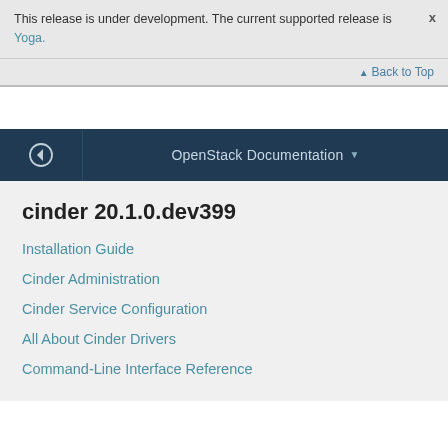This release is under development. The current supported release is Yoga.
Back to Top
OpenStack Documentation
cinder 20.1.0.dev399
Installation Guide
Cinder Administration
Cinder Service Configuration
All About Cinder Drivers
Command-Line Interface Reference